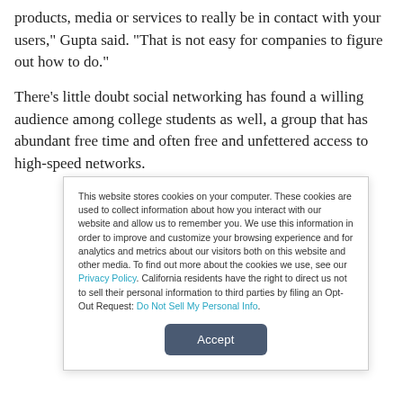products, media or services to really be in contact with your users," Gupta said. "That is not easy for companies to figure out how to do."
There's little doubt social networking has found a willing audience among college students as well, a group that has abundant free time and often free and unfettered access to high-speed networks.
This website stores cookies on your computer. These cookies are used to collect information about how you interact with our website and allow us to remember you. We use this information in order to improve and customize your browsing experience and for analytics and metrics about our visitors both on this website and other media. To find out more about the cookies we use, see our Privacy Policy. California residents have the right to direct us not to sell their personal information to third parties by filing an Opt-Out Request: Do Not Sell My Personal Info.